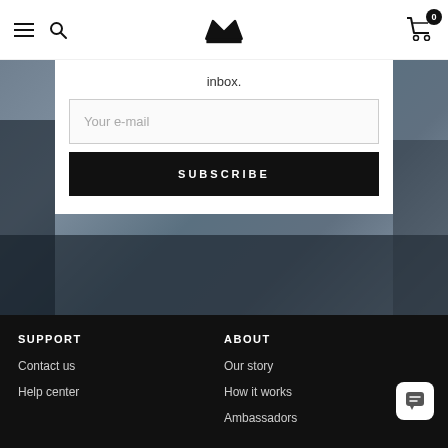Navigation bar with hamburger, search, crown logo, and cart (0 items)
inbox.
Your e-mail
SUBSCRIBE
SUPPORT
Contact us
Help center
ABOUT
Our story
How it works
Ambassadors